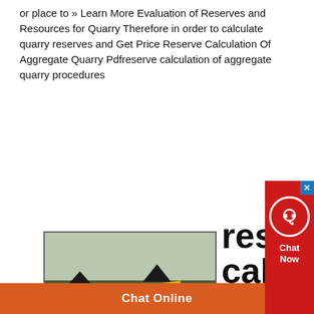or place to » Learn More Evaluation of Reserves and Resources for Quarry Therefore in order to calculate quarry reserves and Get Price Reserve Calculation Of Aggregate Quarry Pdfreserve calculation of aggregate quarry procedures
[Figure (photo): Yellow quarry aggregate processing machine/conveyor equipment at an open-pit quarry site with large rock piles and trees in background]
reserve calculation of aggregate quarry procedures
reserve calculation of aggregate quarry procedures; MB5X
Chat Online